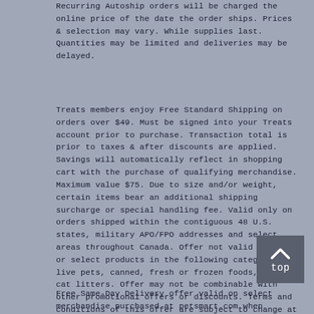Recurring Autoship orders will be charged the online price of the date the order ships. Prices & selection may vary. While supplies last. Quantities may be limited and deliveries may be delayed.
Treats members enjoy Free Standard Shipping on orders over $49. Must be signed into your Treats account prior to purchase. Transaction total is prior to taxes & after discounts are applied. Savings will automatically reflect in shopping cart with the purchase of qualifying merchandise. Maximum value $75. Due to size and/or weight, certain items bear an additional shipping surcharge or special handling fee. Valid only on orders shipped within the contiguous 48 U.S. states, military APO/FPO addresses and select areas throughout Canada. Offer not valid on all or select products in the following categories: live pets, canned, fresh or frozen foods, select cat litters. Offer may not be combinable with other promotional offers or discounts. Terms and conditions of this offer are subject to change at the sole discretion of PetSmart. Delivery may be delayed due to acts beyond our reasonable control, which may include, but are not limited to, weather, strikes, power outages, shutdowns, local, provincial or federal governmental actions, and other similar acts. Offer valid on PetSmart.com.
Free Same-Day Delivery offer valid on select merchandise purchased at petsmart.com when choosing Same-Day